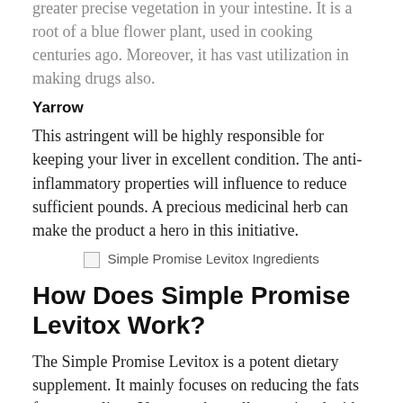greater precise vegetation in your intestine. It is a root of a blue flower plant, used in cooking centuries ago. Moreover, it has vast utilization in making drugs also.
Yarrow
This astringent will be highly responsible for keeping your liver in excellent condition. The anti-inflammatory properties will influence to reduce sufficient pounds. A precious medicinal herb can make the product a hero in this initiative.
[Figure (photo): Simple Promise Levitox Ingredients image placeholder]
How Does Simple Promise Levitox Work?
The Simple Promise Levitox is a potent dietary supplement. It mainly focuses on reducing the fats from your liver. You must be well-acquainted with the state of a dryer filter full of lint. Your liver can be in a similar condition also. Therefore, removing the excessive fats will lead to losing incredible amounts of pounds.
Moreover, the agency makes use of the exceptional seven